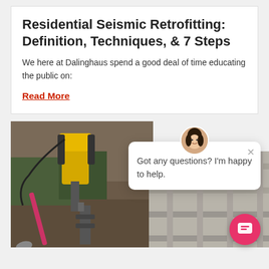Residential Seismic Retrofitting: Definition, Techniques, & 7 Steps
We here at Dalinghaus spend a good deal of time educating the public on:
Read More
[Figure (photo): Construction excavation site showing yellow jackhammer equipment, pink shovel, and metal foundation anchor in dirt ground]
[Figure (screenshot): Chat widget popup with female avatar, close button, and message: Got any questions? I'm happy to help.]
[Figure (photo): Pink circular chat button with speech bubble icon in bottom right corner]